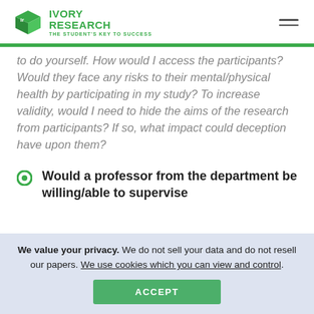IVORY RESEARCH — THE STUDENT'S KEY TO SUCCESS
participants? Would they face any risks to their mental/physical health by participating in my study? To increase validity, would I need to hide the aims of the research from participants? If so, what impact could deception have upon them?
Would a professor from the department be willing/able to supervise
We value your privacy. We do not sell your data and do not resell our papers. We use cookies which you can view and control.